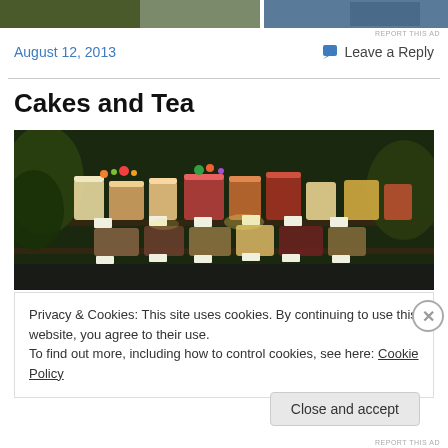[Figure (photo): Top banner image showing a scenic/architectural photo strip, partially visible]
REPORT THIS AD
August 12, 2013
Leave a Reply
Cakes and Tea
[Figure (photo): A bakery display case filled with various decorated cakes and pastries arranged on multiple tiers, with small label cards in front of each item.]
Privacy & Cookies: This site uses cookies. By continuing to use this website, you agree to their use.
To find out more, including how to control cookies, see here: Cookie Policy
Close and accept
REPORT THIS AD